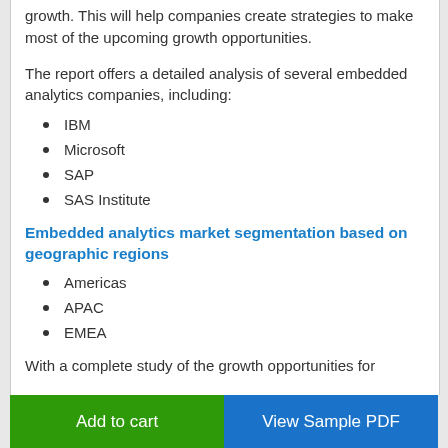growth. This will help companies create strategies to make most of the upcoming growth opportunities.
The report offers a detailed analysis of several embedded analytics companies, including:
IBM
Microsoft
SAP
SAS Institute
Embedded analytics market segmentation based on geographic regions
Americas
APAC
EMEA
With a complete study of the growth opportunities for